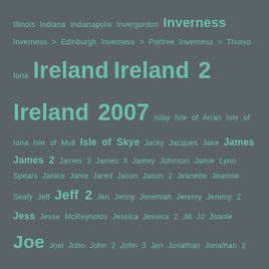Illinois Indiana Indianapolis Invergordon Inverness Inverness > Edinburgh Inverness > Portree Inverness > Thurso Iona Ireland Ireland 2 Ireland 2007 Islay Isle of Arran Isle of Iona Isle of Mull Isle of Skye Jacky Jacques Jake James James 2 James 3 James II Jamey Johnson Jamie Lynn Spears Janice Janie Jared Jason Jason 2 Jeanette Jeannie Sealy Jeff Jeff 2 Jen Jenny Jeremiah Jeremy Jeremy 2 Jess Jesse McReynolds Jessica Jessica 2 Jill JJ Joanie Joe Joel John John 2 John 3 Jon Jonathan Jonathan 2 Jon Conlee Joni Jonn Jonny Jordan Josh Josh 2 Josh 3 Joyce Jr Julie Julie 4 Kaiden Kalihiwai Kansas City Kapaa Karen Karen 3 Karol Kay Kas Kate Kathryn Kathy Katie Kauai KEF > BWI Keith Kendall Kentucky Kerin Kerri Kevin Kevin 2 Kierre Kilauea Kilkenny Kim Kingsport Kirkwall Kirkwall > Aberdeen Kirkwall > Stromness Kirsten KK Koloa Kristel Kristian Busch Kyle Kyle 2 Kyle 3 LaDawn LaGrange La Push LAS > SAT Las Conchas Las Vegas Lattney Laura LAX - BNE Layover: ABQ Layover: AUS Layover: BNA Layover: BOS